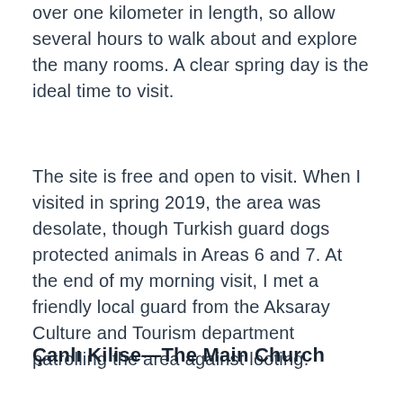over one kilometer in length, so allow several hours to walk about and explore the many rooms. A clear spring day is the ideal time to visit.
The site is free and open to visit. When I visited in spring 2019, the area was desolate, though Turkish guard dogs protected animals in Areas 6 and 7. At the end of my morning visit, I met a friendly local guard from the Aksaray Culture and Tourism department patrolling the area against looting.
Çanlı Kilise—The Main Church